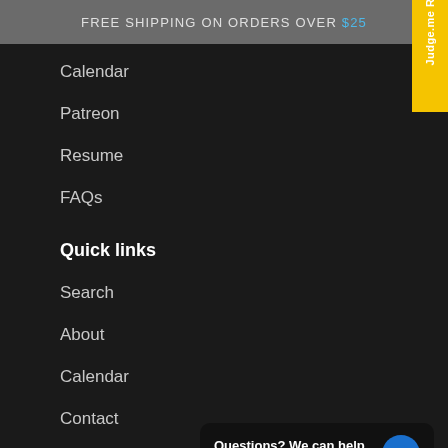FREE SHIPPING ON ORDERS OVER $25 ×
Calendar
Patreon
Resume
FAQs
Quick links
Search
About
Calendar
Contact
[Figure (other): Judge.me Reviews vertical badge in yellow]
Questions? We can help. Chat with us now.